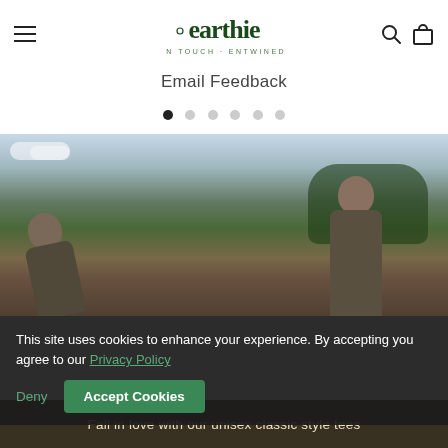[Figure (logo): Earthie brand logo with text 'earthie in touch · entwined' in green decorative font]
Email Feedback
[Figure (other): Six pagination dots, first dot filled black (active), remaining five outlined/grey]
[Figure (photo): Two people outdoors in nature setting with trees and sky in background]
This site uses cookies to enhance your experience. By accepting you agree to our Privacy Policy
Deny   Accept Cookies
Fall in love with our unisex classic style tees